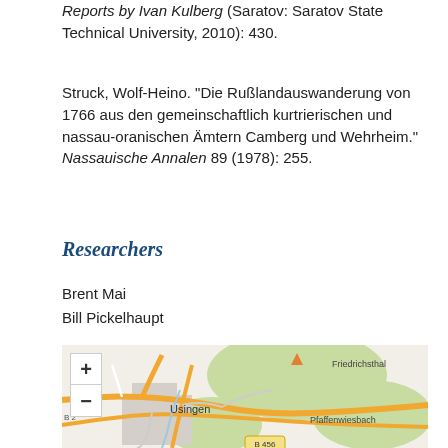Reports by Ivan Kulberg (Saratov: Saratov State Technical University, 2010): 430.
Struck, Wolf-Heino. "Die Rußlandauswanderung von 1766 aus den gemeinschaftlich kurtrierischen und nassau-oranischen Ämtern Camberg und Wehrheim." Nassauische Annalen 89 (1978): 255.
Researchers
Brent Mai
Bill Pickelhaupt
[Figure (map): OpenStreetMap showing the Usingen area in Germany, with labels for Usingen, Friedrichsthal, Pfaffenwiesbach, and road B 456. Zoom controls (+/-) and a fullscreen button are visible on the left side.]